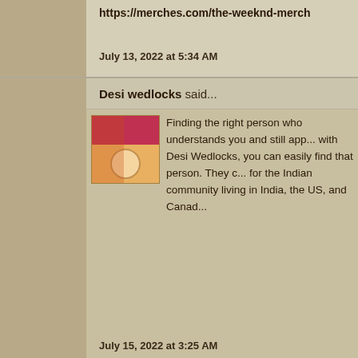https://merches.com/the-weeknd-merch
July 13, 2022 at 5:34 AM
Desi wedlocks said...
Finding the right person who understands you and still app... with Desi Wedlocks, you can easily find that person. They c... for the Indian community living in India, the US, and Canad...
July 15, 2022 at 3:25 AM
martinemma854 said...
Did you just buy a new Cricut machine? Get started with cr... account instantly. If you are just exploring how the Cricut m... have got some magic to see. With the best Cricut machines... what you can make with them. Home crafters who are cons... enough space for their projects can now give their worries a... machines, you have more space for your projects and lesse... www.cricut.com/setup
July 15, 2022 at 6:13 AM